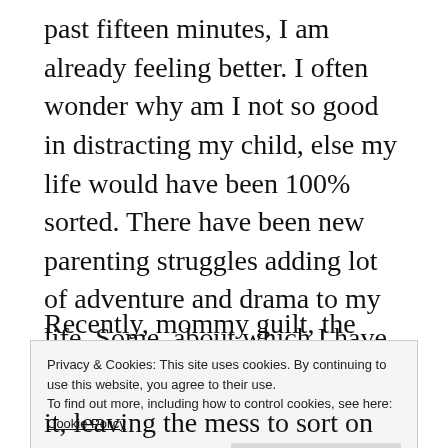past fifteen minutes, I am already feeling better. I often wonder why am I not so good in distracting my child, else my life would have been 100% sorted. There have been new parenting struggles adding lot of adventure and drama to my life. Some, about which I have no clue about how to tackle, the others where I'm on a hit and trial mode.
Recently, mommy guilt, the emotion I always
Privacy & Cookies: This site uses cookies. By continuing to use this website, you agree to their use.
To find out more, including how to control cookies, see here: Cookie Policy
it, leaving the mess to sort on its own. I know,